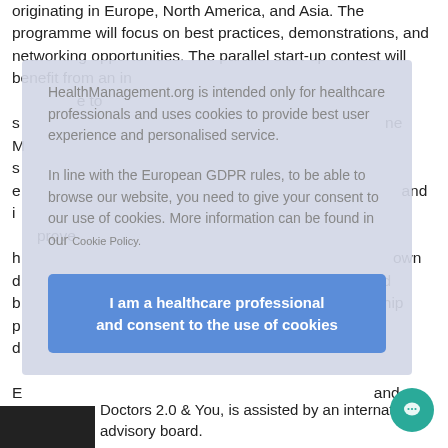originating in Europe, North America, and Asia. The programme will focus on best practices, demonstrations, and networking opportunities. The parallel start-up contest will benefit from an in... ...e to s... ...ne M... s... e... and i... ...prove h... ...own d... ...ected b... ...arship p... d...
[Figure (screenshot): Cookie consent overlay modal on HealthManagement.org website with text about GDPR and a blue consent button.]
HealthManagement.org is intended only for healthcare professionals and uses cookies to provide best user experience and personalised service.
In line with the European GDPR rules, to be able to browse our website, you need to give your consent to our use of cookies. More information can be found in our Cookie Policy.
I am a healthcare professional and consent to the use of cookies
Doctors 2.0 & You, is assisted by an international advisory board.